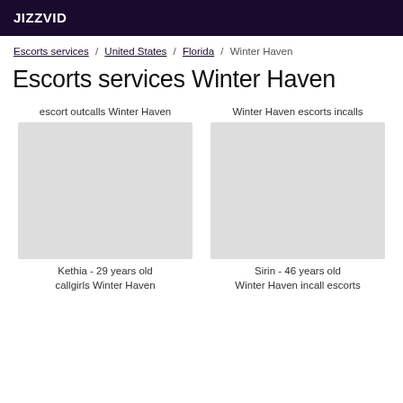JIZZVID
Escorts services / United States / Florida / Winter Haven
Escorts services Winter Haven
escort outcalls Winter Haven
Winter Haven escorts incalls
[Figure (photo): Photo placeholder for Kethia]
[Figure (photo): Photo placeholder for Sirin]
Kethia - 29 years old
Sirin - 46 years old
callgirls Winter Haven
Winter Haven incall escorts